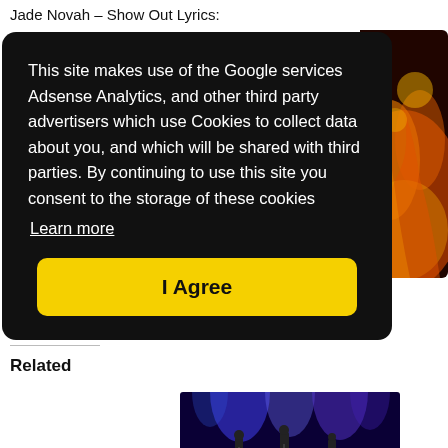Jade Novah – Show Out Lyrics:
This site makes use of the Google services Adsense Analytics, and other third party advertisers which use Cookies to collect data about you, and which will be shared with third parties. By continuing to use this site you consent to the storage of these cookies
Learn more
I Agree
[Figure (photo): Colorful abstract fire/flame background image on the right side]
Facebook
Twitter
Pinterest
Related
[Figure (photo): Concert/performance photo with blue and purple stage lighting, musicians on stage]